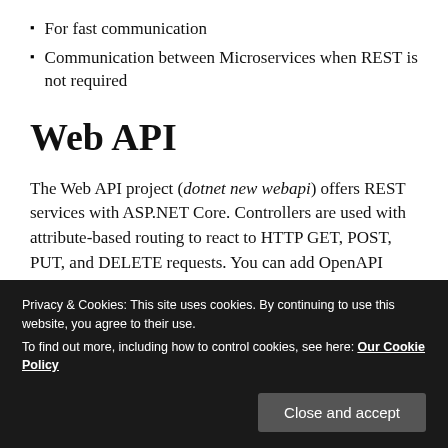For fast communication
Communication between Microservices when REST is not required
Web API
The Web API project (dotnet new webapi) offers REST services with ASP.NET Core. Controllers are used with attribute-based routing to react to HTTP GET, POST, PUT, and DELETE requests. You can add OpenAPI (Swagger) support to get documentation and test pages. By default,
Privacy & Cookies: This site uses cookies. By continuing to use this website, you agree to their use.
To find out more, including how to control cookies, see here: Our Cookie Policy
Close and accept